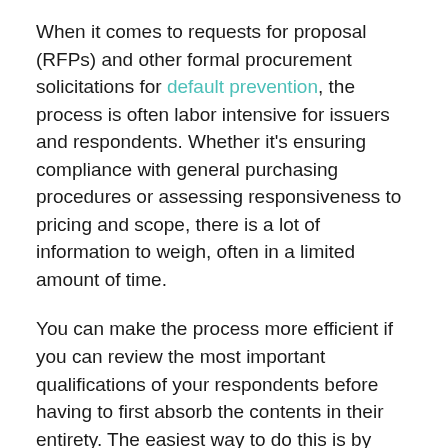When it comes to requests for proposal (RFPs) and other formal procurement solicitations for default prevention, the process is often labor intensive for issuers and respondents. Whether it's ensuring compliance with general purchasing procedures or assessing responsiveness to pricing and scope, there is a lot of information to weigh, often in a limited amount of time.
You can make the process more efficient if you can review the most important qualifications of your respondents before having to first absorb the contents in their entirety. The easiest way to do this is by reserving a section of your default prevention request for proposal for responses to mandatory questions.
You can begin your review by examining the answers